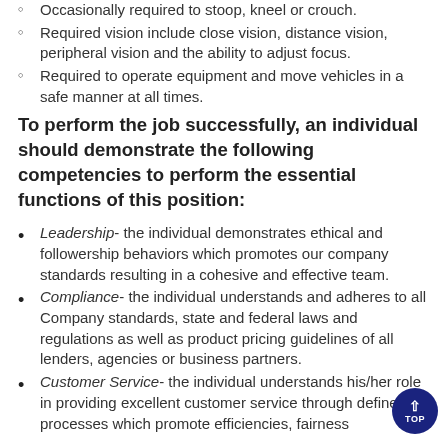Occasionally required to stoop, kneel or crouch. [partial, cropped at top]
Required vision include close vision, distance vision, peripheral vision and the ability to adjust focus.
Required to operate equipment and move vehicles in a safe manner at all times.
To perform the job successfully, an individual should demonstrate the following competencies to perform the essential functions of this position:
Leadership- the individual demonstrates ethical and followership behaviors which promotes our company standards resulting in a cohesive and effective team.
Compliance- the individual understands and adheres to all Company standards, state and federal laws and regulations as well as product pricing guidelines of all lenders, agencies or business partners.
Customer Service- the individual understands his/her role in providing excellent customer service through defined processes which promote efficiencies, fairness